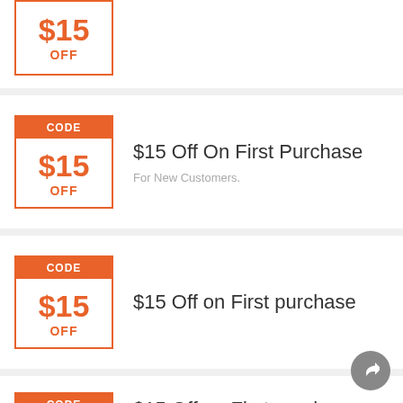[Figure (other): Partial coupon at top showing $15 OFF code badge]
$15 Off On First Purchase
For New Customers.
$15 Off on First purchase
$15 Off on First purchase